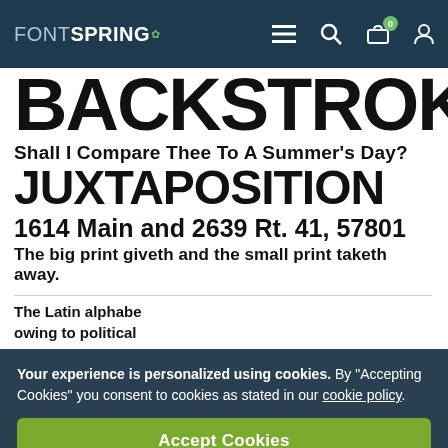FONTSPRING navigation bar with menu, search, cart (0), and user icons
BACKSTROKE
Shall I compare thee to a summer's day?
JUXTAPOSITION
1614 Main and 2639 Rt. 41, 57801
The big print giveth and the small print taketh away.
The Latin alphabe owing to political
Your experience is personalized using cookies. By "Accepting Cookies" you consent to cookies as stated in our cookie policy.
Accept Cookies